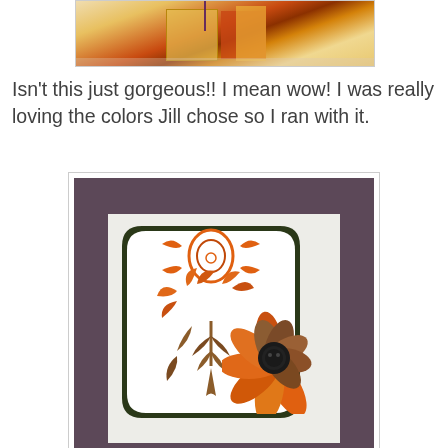[Figure (photo): Top portion of a handmade craft/gift box photo with orange, gold, and cream colors on a pink surface with a purple cord.]
Isn't this just gorgeous!! I mean wow! I was really loving the colors Jill chose so I ran with it.
[Figure (photo): A handmade greeting card featuring an orange and brown floral stamped damask pattern on a label-shaped die cut with dark green border, decorated with layered orange and brown flower embellishment and a black button center, set against a purple-gray textured card base.]